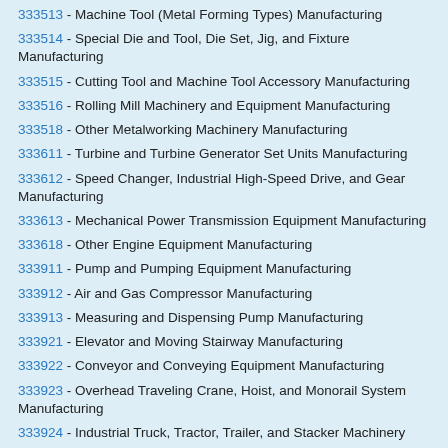333513 - Machine Tool (Metal Forming Types) Manufacturing
333514 - Special Die and Tool, Die Set, Jig, and Fixture Manufacturing
333515 - Cutting Tool and Machine Tool Accessory Manufacturing
333516 - Rolling Mill Machinery and Equipment Manufacturing
333518 - Other Metalworking Machinery Manufacturing
333611 - Turbine and Turbine Generator Set Units Manufacturing
333612 - Speed Changer, Industrial High-Speed Drive, and Gear Manufacturing
333613 - Mechanical Power Transmission Equipment Manufacturing
333618 - Other Engine Equipment Manufacturing
333911 - Pump and Pumping Equipment Manufacturing
333912 - Air and Gas Compressor Manufacturing
333913 - Measuring and Dispensing Pump Manufacturing
333921 - Elevator and Moving Stairway Manufacturing
333922 - Conveyor and Conveying Equipment Manufacturing
333923 - Overhead Traveling Crane, Hoist, and Monorail System Manufacturing
333924 - Industrial Truck, Tractor, Trailer, and Stacker Machinery